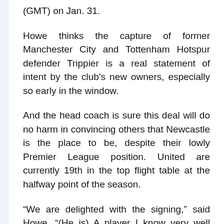(GMT) on Jan. 31.
Howe thinks the capture of former Manchester City and Tottenham Hotspur defender Trippier is a real statement of intent by the club's new owners, especially so early in the window.
And the head coach is sure this deal will do no harm in convincing others that Newcastle is the place to be, despite their lowly Premier League position. United are currently 19th in the top flight table at the halfway point of the season.
“We are delighted with the signing,” said Howe. “(He is) A player I know very well from our time at Burnley together. I know he is going to bring a huge amount on the pitch and off it. Off the pitch he has a winning mentality and is driven